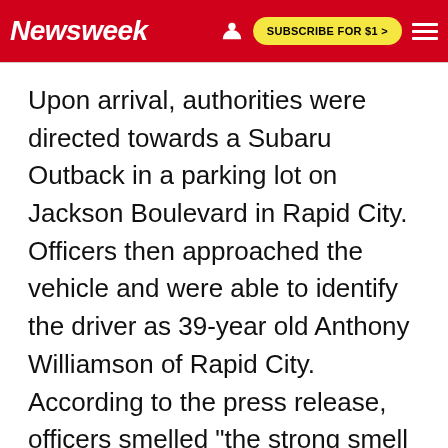Newsweek | SUBSCRIBE FOR $1 >
Upon arrival, authorities were directed towards a Subaru Outback in a parking lot on Jackson Boulevard in Rapid City. Officers then approached the vehicle and were able to identify the driver as 39-year old Anthony Williamson of Rapid City. According to the press release, officers smelled "the strong smell of an alcoholic beverage," emanating from Williamson.